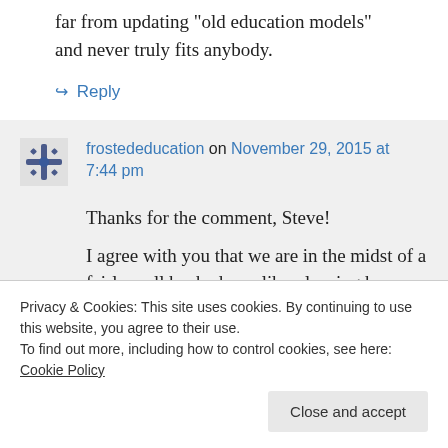far from updating "old education models" and never truly fits anybody.
↪ Reply
frostededucation on November 29, 2015 at 7:44 pm
Thanks for the comment, Steve!
I agree with you that we are in the midst of a fairly well backed neo-liberal swing here
Privacy & Cookies: This site uses cookies. By continuing to use this website, you agree to their use.
To find out more, including how to control cookies, see here: Cookie Policy
Close and accept
this, the public will start to question the